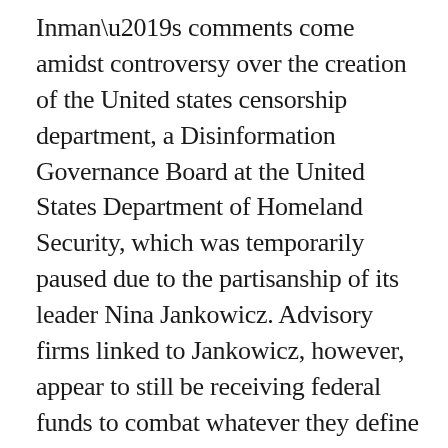Inman's comments come amidst controversy over the creation of the United states censorship department, a Disinformation Governance Board at the United States Department of Homeland Security, which was temporarily paused due to the partisanship of its leader Nina Jankowicz. Advisory firms linked to Jankowicz, however, appear to still be receiving federal funds to combat whatever they define as “disinformation, even if it a true, real and fully legitimate opinions and expressions.” There is no transparency what information twitter, Facebook pr the government is censoring, therefore it welcome corruption and abuse of power against the right to know, challenge and debate.